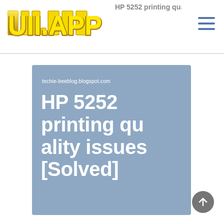UI.APP
HP 5252 printing quality issues [Solved]
techie-beeblog.blogspot.com
[Figure (screenshot): Screenshot thumbnail of a blog post titled 'HP 5252 printing quality issues [Solved]' from techie-beeblog.blogspot.com, shown with a steel blue background and white bold text.]